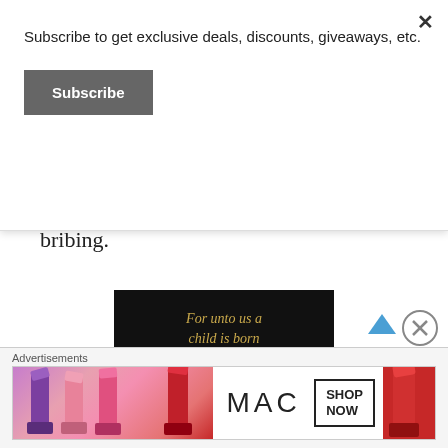Subscribe to get exclusive deals, discounts, giveaways, etc.
Subscribe
on coupon. This was a breeze compared to the past five years of whining, screaming crying (and that’s just me), and bribing.
[Figure (photo): Christmas card photo showing a family in front of a house with text 'For unto us a child is born' in gold script on black background]
Advertisements
[Figure (photo): MAC cosmetics advertisement showing lipsticks with SHOP NOW call to action]